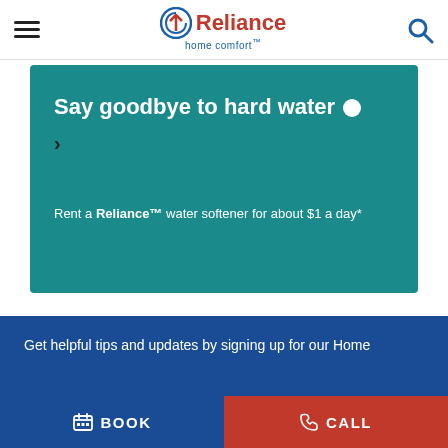Reliance home comfort™ — navigation bar with hamburger menu and search icon
[Figure (screenshot): Teal promotional banner: 'Say goodbye to hard water' with white circle dot, right-arrow navigation, and subtext 'Rent a Reliance™ water softener for about $1 a day*']
Get helpful tips and updates by signing up for our Home
BOOK
CALL